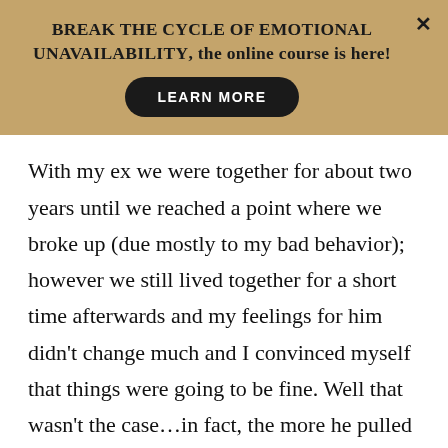BREAK THE CYCLE OF EMOTIONAL UNAVAILABILITY, the online course is here!
With my ex we were together for about two years until we reached a point where we broke up (due mostly to my bad behavior); however we still lived together for a short time afterwards and my feelings for him didn't change much and I convinced myself that things were going to be fine. Well that wasn't the case…in fact, the more he pulled away from